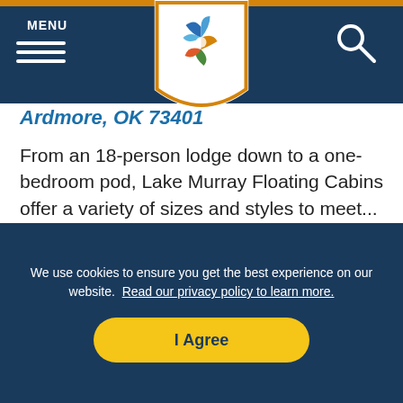MENU
[Figure (logo): Colorful pinwheel/star logo in a shield shape with orange border]
Ardmore, OK 73401
From an 18-person lodge down to a one-bedroom pod, Lake Murray Floating Cabins offer a variety of sizes and styles to meet...
MEHR LESEN >
[Figure (photo): Partial view of a building roofline against a light blue sky]
We use cookies to ensure you get the best experience on our website. Read our privacy policy to learn more.
I Agree